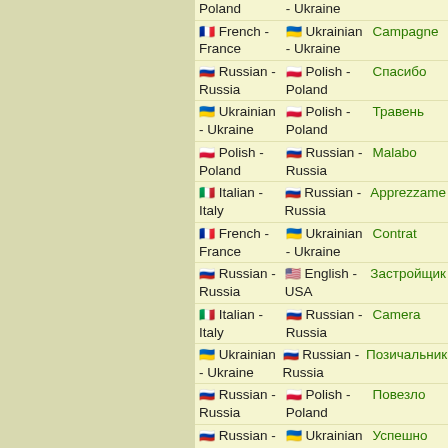Poland - Ukraine | French - France | Ukrainian - Ukraine | Campagne
Russian - Russia | Polish - Poland | Спасибо
Ukrainian - Ukraine | Polish - Poland | Травень
Polish - Poland | Russian - Russia | Malabo
Italian - Italy | Russian - Russia | Apprezzame
French - France | Ukrainian - Ukraine | Contrat
Russian - Russia | English - USA | Застройщик
Italian - Italy | Russian - Russia | Camera
Ukrainian - Ukraine | Russian - Russia | Позичальник
Russian - Russia | Polish - Poland | Повезло
Russian - Russia | Ukrainian - Ukraine | Успешно
Polish - | Russian - | Stanowisko